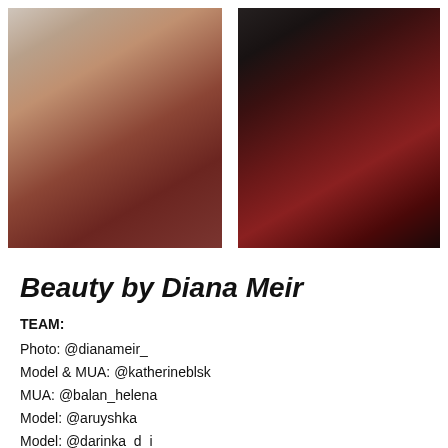[Figure (photo): Two fashion/beauty photos side by side. Left: blurred portrait of a person with light hair in warm reddish tones. Right: darker portrait with deep red and dark background tones.]
Beauty by Diana Meir
TEAM:
Photo: @dianameir_
Model & MUA: @katherineblsk
MUA: @balan_helena
Model: @aruyshka
Model: @darinka_d_i